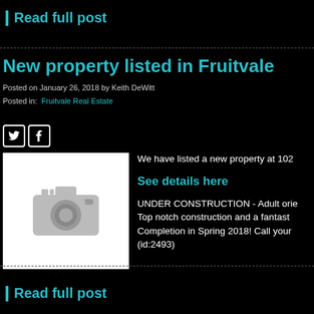Read full post
New property listed in Fruitvale
Posted on January 26, 2018 by Keith DeWitt
Posted in: Fruitvale Real Estate
[Figure (photo): Camera placeholder image in white box]
We have listed a new property at 102...
See details here
UNDER CONSTRUCTION - Adult orie... Top notch construction and a fantast... Completion in Spring 2018! Call your ... (id:2493)
Read full post